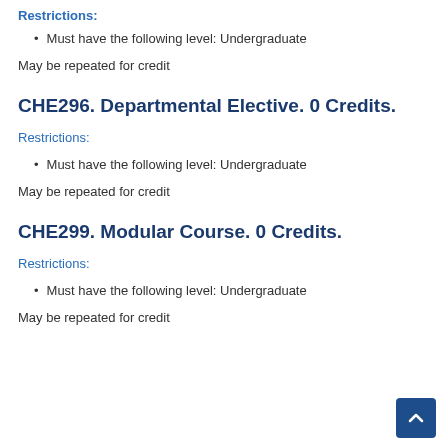Restrictions:
Must have the following level: Undergraduate
May be repeated for credit
CHE296. Departmental Elective. 0 Credits.
Restrictions:
Must have the following level: Undergraduate
May be repeated for credit
CHE299. Modular Course. 0 Credits.
Restrictions:
Must have the following level: Undergraduate
May be repeated for credit